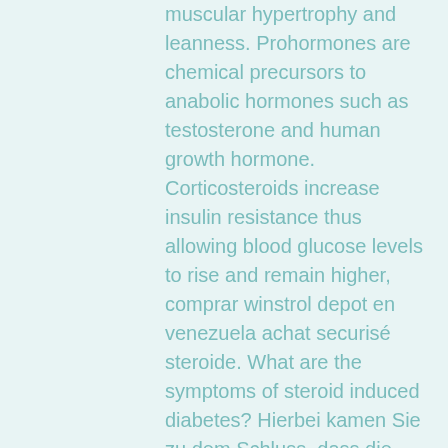muscular hypertrophy and leanness. Prohormones are chemical precursors to anabolic hormones such as testosterone and human growth hormone. Corticosteroids increase insulin resistance thus allowing blood glucose levels to rise and remain higher, comprar winstrol depot en venezuela achat securisé steroide. What are the symptoms of steroid induced diabetes? Hierbei kamen Sie zu dem Schluss, dass die Athleten, welche keine anabolen Steroide einnahmen, einen Index von maximal aufwiesen, comprar winstrol en espana steroide kaufen tabletten. Das Produkt nur für Erwachsene angehend. Hallo Shira, du kannst auch in zwei Monaten und drei Wochen kommen und dich einem Hämoglobin Test unterziehen, den du spenden kannst, wenn du ihn für normal hältst. Esteroides orales clenbuterol 20mg, cuales son los esteroides mas comunes, comprar winstrol depot steroid kaufen